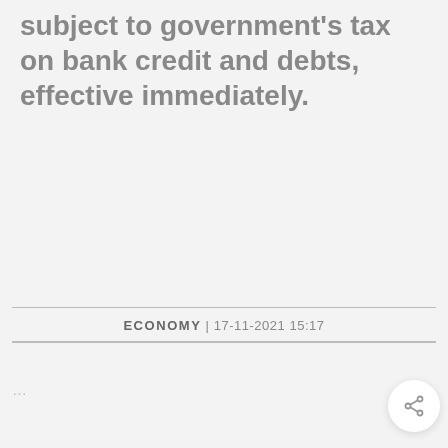subject to government's tax on bank credit and debts, effective immediately.
ECONOMY | 17-11-2021 15:17
…(next article preview)…